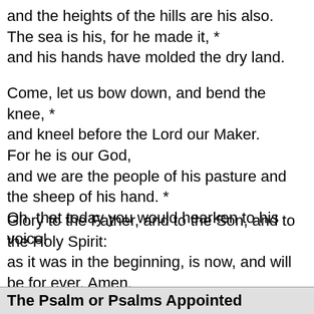and the heights of the hills are his also.
The sea is his, for he made it, *
and his hands have molded the dry land.
Come, let us bow down, and bend the knee, *
and kneel before the Lord our Maker.
For he is our God,
and we are the people of his pasture and the sheep of his hand. *
Oh, that today you would hearken to his voice!
Glory to the Father, and to the Son, and to the Holy Spirit:
as it was in the beginning, is now, and will be for ever. Amen.
The Psalm or Psalms Appointed